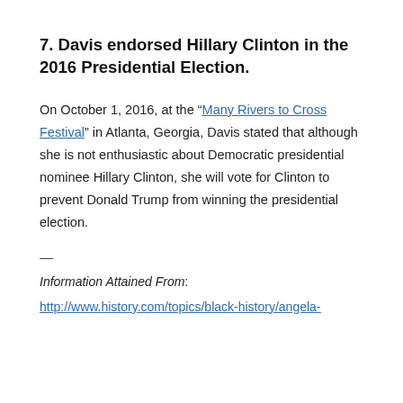7. Davis endorsed Hillary Clinton in the 2016 Presidential Election.
On October 1, 2016, at the “Many Rivers to Cross Festival” in Atlanta, Georgia, Davis stated that although she is not enthusiastic about Democratic presidential nominee Hillary Clinton, she will vote for Clinton to prevent Donald Trump from winning the presidential election.
—
Information Attained From:
http://www.history.com/topics/black-history/angela-